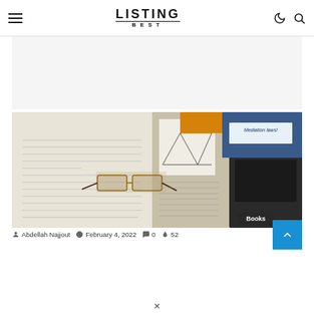LISTING BEST
[Figure (photo): Open textbook with diagrams and glasses resting on the pages, surrounded by other books. A label reads 'Mediation laws'. A badge in the bottom right reads 'Books'.]
Abdellah Najjout   February 4, 2022   0   52